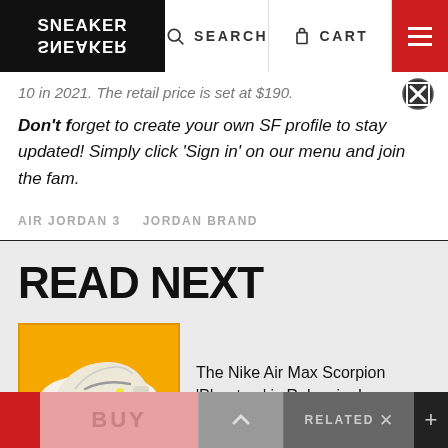SNEAKER FREAKER | SEARCH | CART | Menu
10 in 2021. The retail price is set at $190.
Don't forget to create your own SF profile to stay updated! Simply click 'Sign in' on our menu and join the fam.
AIR JORDAN 3    JORDAN BRAND
READ NEXT
[Figure (photo): Nike Air Max Scorpion Phantom shoe on orange background]
The Nike Air Max Scorpion 'Phantom' is Releasing!
BUY | ^ | RELATED | +